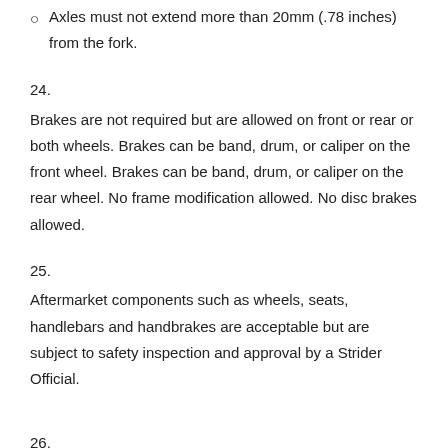Axles must not extend more than 20mm (.78 inches) from the fork.
24.
Brakes are not required but are allowed on front or rear or both wheels. Brakes can be band, drum, or caliper on the front wheel. Brakes can be band, drum, or caliper on the rear wheel. No frame modification allowed. No disc brakes allowed.
25.
Aftermarket components such as wheels, seats, handlebars and handbrakes are acceptable but are subject to safety inspection and approval by a Strider Official.
26.
Handlebars must be within the following dimensions for the